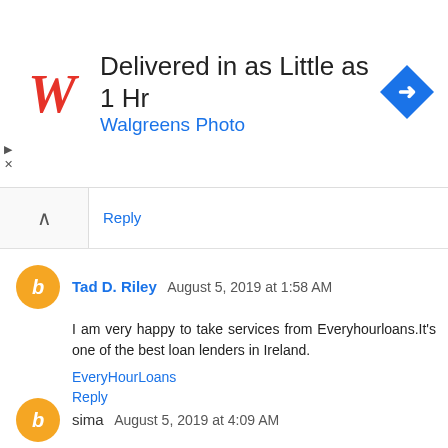[Figure (infographic): Walgreens Photo advertisement banner: logo on left, headline 'Delivered in as Little as 1 Hr', subtext 'Walgreens Photo', blue road sign icon on right]
Reply
Tad D. Riley  August 5, 2019 at 1:58 AM
I am very happy to take services from Everyhourloans.It's one of the best loan lenders in Ireland.
EveryHourLoans
Reply
sima  August 5, 2019 at 4:09 AM
طراحی فروشگاه اینترنتی
کلاس یوگا در تهاوران
...